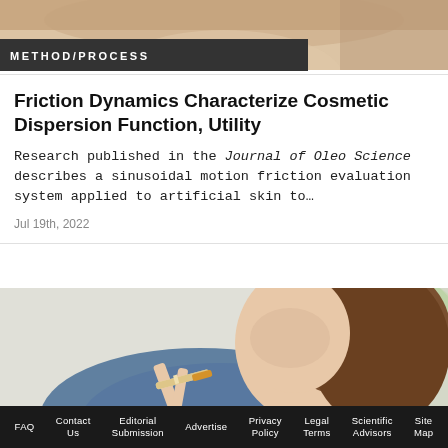[Figure (photo): Top portion of a person's face/chin area, skin tone background, partially cropped at top of page]
METHOD/PROCESS
Friction Dynamics Characterize Cosmetic Dispersion Function, Utility
Research published in the Journal of Oleo Science describes a sinusoidal motion friction evaluation system applied to artificial skin to…
Jul 19th, 2022
[Figure (photo): Photo of a smiling young woman with brown hair, breaking a cigarette in half, blurred background]
FAQ  Contact Us  Editorial Submission  Advertise  Privacy Policy  Legal Terms  Scientific Advisors  Site Map